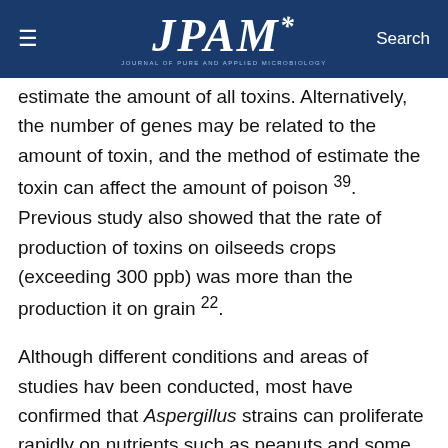JPAM — Journal of Pure and Applied Microbiology
estimate the amount of all toxins. Alternatively, the number of genes may be related to the amount of toxin, and the method of estimate the toxin can affect the amount of poison 39. Previous study also showed that the rate of production of toxins on oilseeds crops (exceeding 300 ppb) was more than the production it on grain 22.
Although different conditions and areas of studies have been conducted, most have confirmed that Aspergillus strains can proliferate rapidly on nutrients such as peanuts and some other species with high moisture content 40. Fungi do not grow evenly on all nutrients. Different species of the same type of food differ in their susceptibility to fungi and the production of